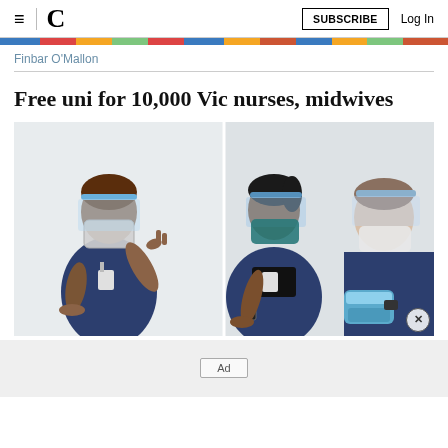≡  C  SUBSCRIBE  Log In
[Figure (photo): Colorful image strip at top of page]
Finbar O'Mallon
Free uni for 10,000 Vic nurses, midwives
[Figure (photo): Three nurses/healthcare workers wearing face shields and masks in navy blue scrubs. Two on the left appear to be in conversation, one gesturing with her hand. The third on the right holds a medical container. An X close button is visible in the bottom-right corner of the image.]
Ad